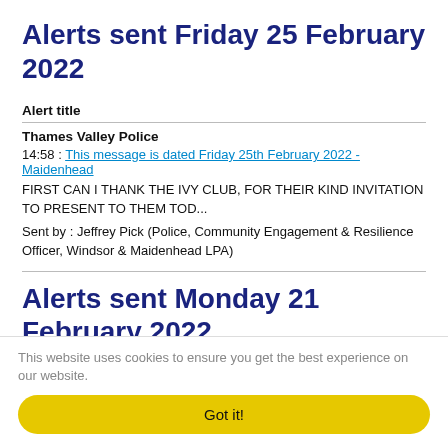Alerts sent Friday 25 February 2022
Alert title
Thames Valley Police
14:58 : This message is dated Friday 25th February 2022 - Maidenhead
FIRST CAN I THANK THE IVY CLUB, FOR THEIR KIND INVITATION TO PRESENT TO THEM TOD...
Sent by : Jeffrey Pick (Police, Community Engagement & Resilience Officer, Windsor & Maidenhead LPA)
Alerts sent Monday 21 February 2022
Alert title
This website uses cookies to ensure you get the best experience on our website.
Got it!